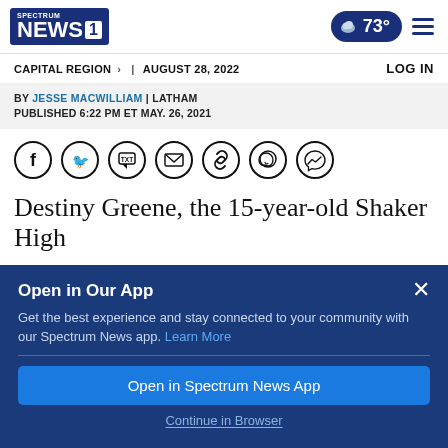SPECTRUM NEWS 1 | CAPITAL REGION | AUGUST 28, 2022 | 73° | LOG IN
BY JESSE MACWILLIAM | LATHAM
PUBLISHED 6:22 PM ET MAY. 26, 2021
[Figure (infographic): Share icons row: Facebook, Twitter, SMS/TXT, Email, Link, WhatsApp, Messenger]
Destiny Greene, the 15-year-old Shaker High
Open in Our App
Get the best experience and stay connected to your community with our Spectrum News app. Learn More
Open in Spectrum News App
Continue in Browser